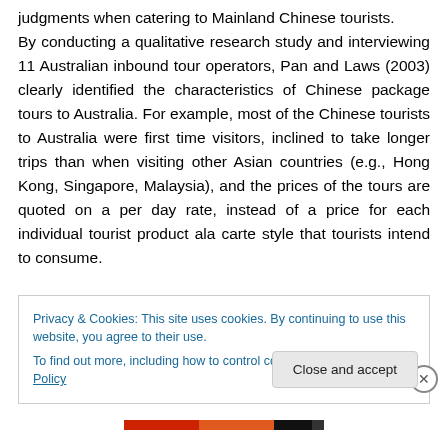judgments when catering to Mainland Chinese tourists. By conducting a qualitative research study and interviewing 11 Australian inbound tour operators, Pan and Laws (2003) clearly identified the characteristics of Chinese package tours to Australia. For example, most of the Chinese tourists to Australia were first time visitors, inclined to take longer trips than when visiting other Asian countries (e.g., Hong Kong, Singapore, Malaysia), and the prices of the tours are quoted on a per day rate, instead of a price for each individual tourist product ala carte style that tourists intend to consume.
Privacy & Cookies: This site uses cookies. By continuing to use this website, you agree to their use. To find out more, including how to control cookies, see here: Cookie Policy